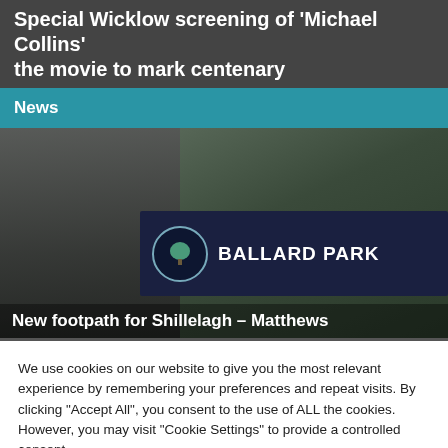Special Wicklow screening of 'Michael Collins' the movie to mark centenary
News
[Figure (photo): Man in dark suit standing next to a Ballard Park sign for Shillelagh United football club]
New footpath for Shillelagh – Matthews
We use cookies on our website to give you the most relevant experience by remembering your preferences and repeat visits. By clicking "Accept All", you consent to the use of ALL the cookies. However, you may visit "Cookie Settings" to provide a controlled consent.
Cookie Settings | Accept All